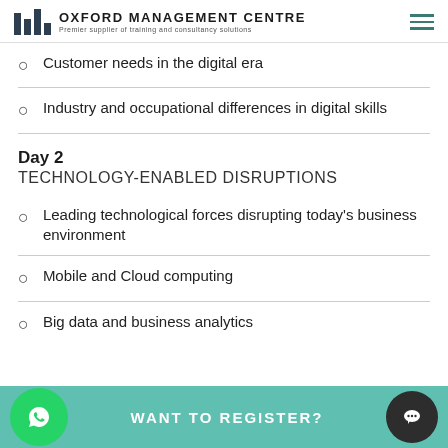OXFORD MANAGEMENT CENTRE — Premier supplier of training and consultancy solutions
Customer needs in the digital era
Industry and occupational differences in digital skills
Day 2
TECHNOLOGY-ENABLED DISRUPTIONS
Leading technological forces disrupting today's business environment
Mobile and Cloud computing
Big data and business analytics
WANT TO REGISTER?